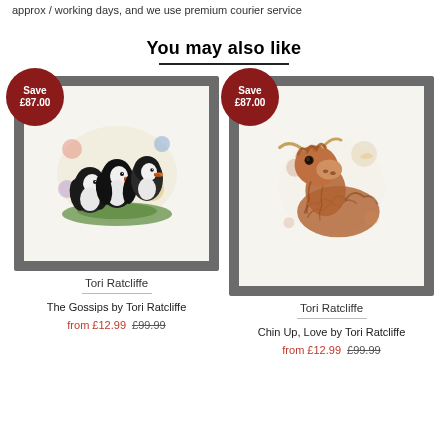approx / working days, and we use premium courier service
You may also like
[Figure (illustration): Framed watercolour artwork of puffins titled 'The Gossips' by Tori Ratcliffe, shown in a dark grey frame with white mount, with a dark red circular badge reading 'Save £87.00']
Tori Ratcliffe
The Gossips by Tori Ratcliffe
from £12.99  £99.99
[Figure (illustration): Framed watercolour artwork of a highland cow titled 'Chin Up, Love' by Tori Ratcliffe, shown in a dark grey frame with white mount, with a dark red circular badge reading 'Save £87.00']
Tori Ratcliffe
Chin Up, Love by Tori Ratcliffe
from £12.99  £99.99